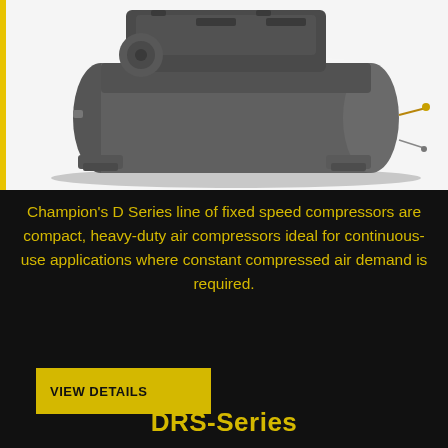[Figure (photo): Industrial horizontal air compressor tank (dark gray/charcoal) with mounting feet, viewed from side-angle. White background with yellow vertical bar on left edge.]
Champion's D Series line of fixed speed compressors are compact, heavy-duty air compressors ideal for continuous-use applications where constant compressed air demand is required.
VIEW DETAILS
DRS-Series